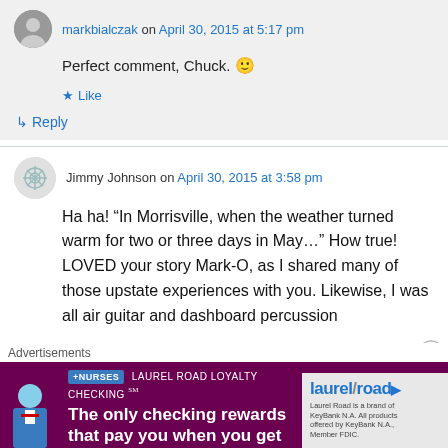markbialczak on April 30, 2015 at 5:17 pm
Perfect comment, Chuck. 🙂
★ Like
↳ Reply
Jimmy Johnson on April 30, 2015 at 3:58 pm
Ha ha! “In Morrisville, when the weather turned warm for two or three days in May…” How true! LOVED your story Mark-O, as I shared many of those upstate experiences with you. Likewise, I was all air guitar and dashboard percussion
Advertisements
[Figure (other): Laurel Road Loyalty Checking advertisement banner: '+NURSES LAUREL ROAD LOYALTY CHECKING SM — The only checking rewards that pay you when you get paid.' with Laurel Road logo on right side.]